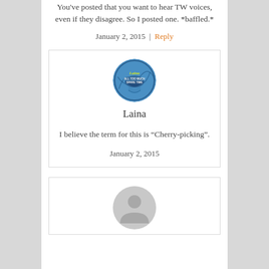You've posted that you want to hear TW voices, even if they disagree. So I posted one. *baffled.*
January 2, 2015  |  Reply
[Figure (photo): Circular avatar image for user Laina, showing a blue logo/badge with text 'Laina All Too Much Spare Time']
Laina
I believe the term for this is “Cherry-picking”.
January 2, 2015
[Figure (photo): Gray default avatar placeholder for a user, showing a generic person silhouette]